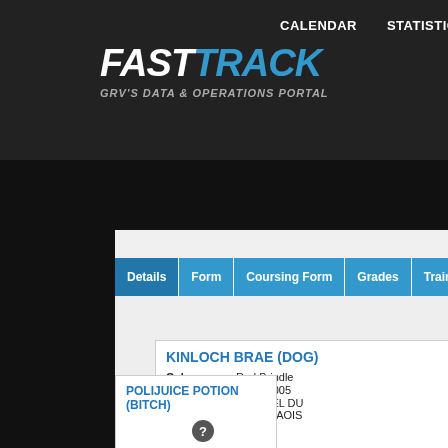CALENDAR   STATISTICS
[Figure (logo): FastTrack logo - FAST in white italic bold, TRACK in blue italic bold, tagline GRV'S DATA & OPERATIONS PORTAL]
Details | Form | Coursing Form | Grades | Trainer | Litters | Ped
KINLOCH BRAE (DOG)
Colour: Red Brindle
Whelped: 03/08/2005
Breeder: MICHAEL DU (PORTLAOIS IAOIS)
POLIJUICE POTION (BITCH)